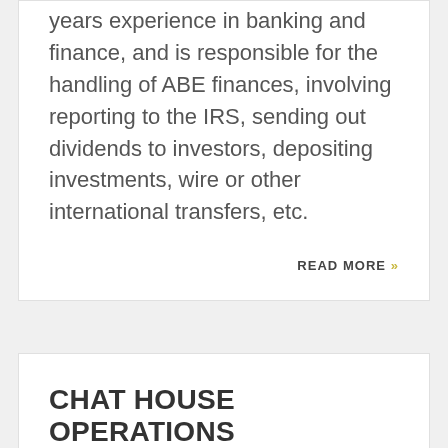years experience in banking and finance, and is responsible for the handling of ABE finances, involving reporting to the IRS, sending out dividends to investors, depositing investments, wire or other international transfers, etc.
READ MORE »
CHAT HOUSE OPERATIONS MANAGER
POSTED BY CRAIG PIGUET ON JUN 29, 2013 IN